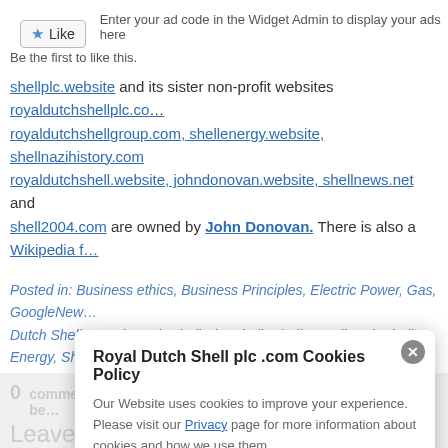[Figure (other): Like button with blue star icon]
Enter your ad code in the Widget Admin to display your ads here
Be the first to like this.
shellplc.website and its sister non-profit websites royaldutchshellplc.com, royaldutchshellgroup.com, shellenergy.website, shellnazihistory.com, royaldutchshell.website, johndonovan.website, shellnews.net and shell2004.com are owned by John Donovan. There is also a Wikipedia f...
Posted in: Business ethics, Business Principles, Electric Power, Gas, GoogleNew..., Dutch Shell, Royal Dutch Shell Plc, Shell, Shell Broadband, Shell Energy, Shell B..., Reviews.
Tagged: Royal Dutch Shell Plc · Shell · Shell Energy Reviews
← The Times: BP and Shell won't be abandoning fossil fuels any time soon.
CityAM: Channel 4 under fi... Paralympics spon...
0 ... comments on ... Shell Energy publicly branded as be...
Leave a Comment
Royal Dutch Shell plc .com Cookies Policy
Our Website uses cookies to improve your experience. Please visit our Privacy page for more information about cookies and how we use them.